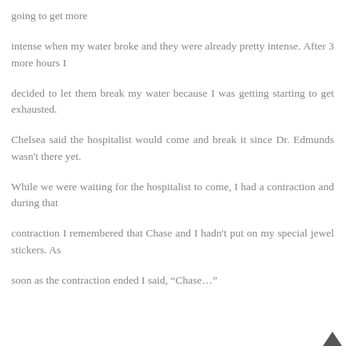going to get more
intense when my water broke and they were already pretty intense. After 3 more hours I
decided to let them break my water because I was getting starting to get exhausted.
Chelsea said the hospitalist would come and break it since Dr. Edmunds wasn't there yet.
While we were waiting for the hospitalist to come, I had a contraction and during that
contraction I remembered that Chase and I hadn't put on my special jewel stickers. As
soon as the contraction ended I said, “Chase…”